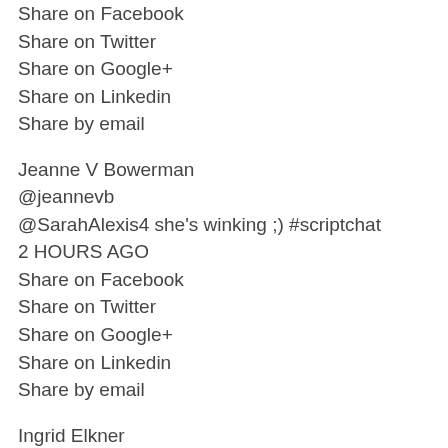Share on Facebook
Share on Twitter
Share on Google+
Share on Linkedin
Share by email
Jeanne V Bowerman
@jeannevb
@SarahAlexis4 she's winking ;) #scriptchat
2 HOURS AGO
Share on Facebook
Share on Twitter
Share on Google+
Share on Linkedin
Share by email
Ingrid Elkner
@IngridElkner
@authorViviAnna You, we were talking about you. You are the topic today. It's been pretty adult comments so far... #scriptchat
2 HOURS AGO